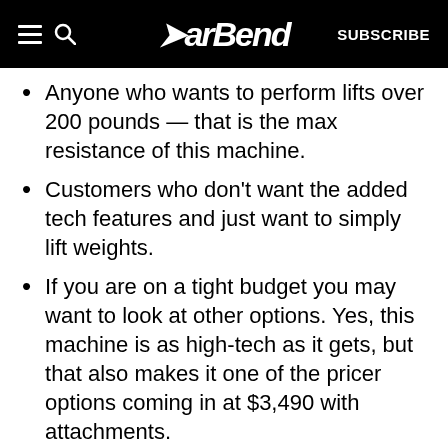BarBend — SUBSCRIBE
Anyone who wants to perform lifts over 200 pounds — that is the max resistance of this machine.
Customers who don't want the added tech features and just want to simply lift weights.
If you are on a tight budget you may want to look at other options. Yes, this machine is as high-tech as it gets, but that also makes it one of the pricer options coming in at $3,490 with attachments.